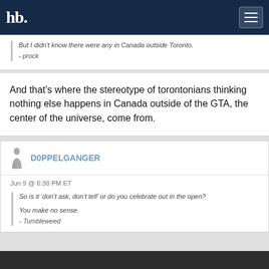hb
But I didn't know there were any in Canada outside Toronto.
- prock
And that's where the stereotype of torontonians thinking nothing else happens in Canada outside of the GTA, the center of the universe, come from.
D0PPELGANGER
Jun 9 @ 6:38 PM ET
So is it ‘don’t ask, don’t tell’ or do you celebrate out in the open?

You make no sense.
- Tumbleweed